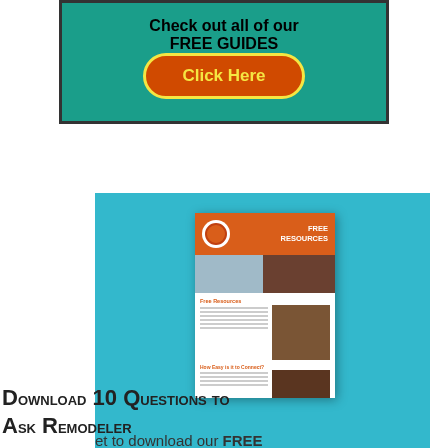Check out all of our FREE GUIDES
[Figure (illustration): Orange rounded button with yellow border saying 'Click Here' on teal/green banner background]
[Figure (illustration): Light blue background panel containing a document/guide cover image showing 'FREE RESOURCES' with interior remodeling photos]
Download 10 Questions to Ask Remodeler
et to download our FREE